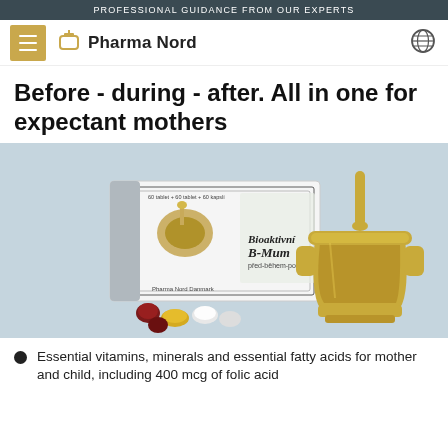PROFESSIONAL GUIDANCE FROM OUR EXPERTS
[Figure (logo): Pharma Nord logo with mortar and pestle icon]
Before - during - after. All in one for expectant mothers
[Figure (photo): Bioaktivní B-Mum product box with tablets and a golden mortar and pestle on a light blue background]
Essential vitamins, minerals and essential fatty acids for mother and child, including 400 mcg of folic acid